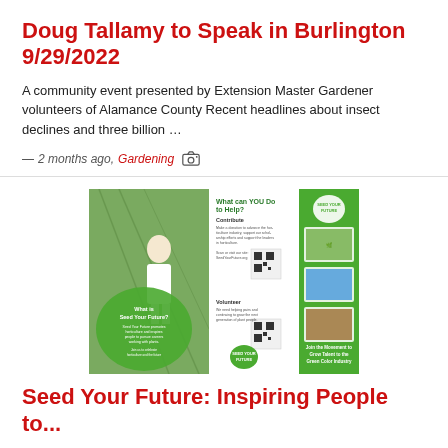Doug Tallamy to Speak in Burlington 9/29/2022
A community event presented by Extension Master Gardener volunteers of Alamance County Recent headlines about insect declines and three billion …
— 2 months ago, Gardening [camera icon]
[Figure (photo): Tri-fold brochure for 'Seed Your Future' featuring a person in a greenhouse setting, information panels about what you can do to help, and the Seed Your Future logo. The right panel shows the tagline 'Join the Movement to Grow Talent to the Green Color Industry'.]
Seed Your Future: Inspiring People to...